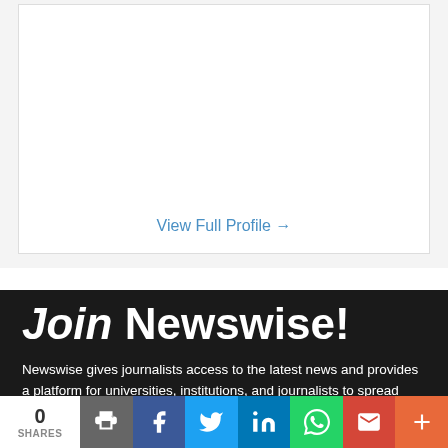View Full Profile →
Join Newswise!
Newswise gives journalists access to the latest news and provides a platform for universities, institutions, and journalists to spread breaking news to their audience.
0 SHARES — print, facebook, twitter, linkedin, whatsapp, gmail, more